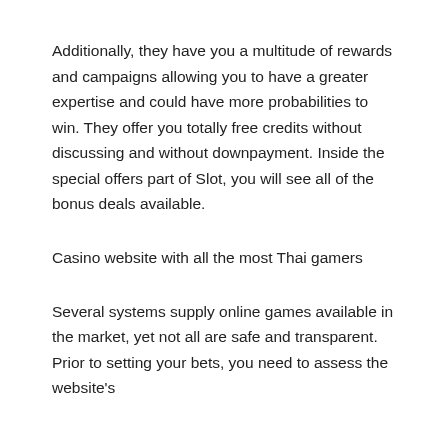Additionally, they have you a multitude of rewards and campaigns allowing you to have a greater expertise and could have more probabilities to win. They offer you totally free credits without discussing and without downpayment. Inside the special offers part of Slot, you will see all of the bonus deals available.
Casino website with all the most Thai gamers
Several systems supply online games available in the market, yet not all are safe and transparent. Prior to setting your bets, you need to assess the website's